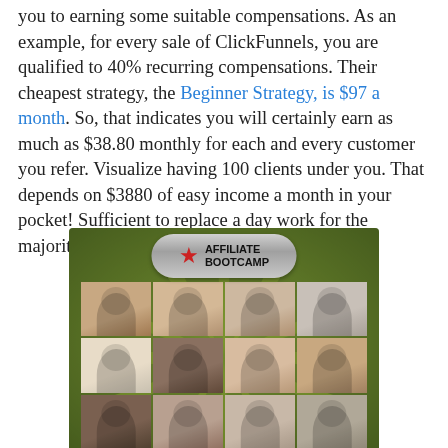you to earning some suitable compensations. As an example, for every sale of ClickFunnels, you are qualified to 40% recurring compensations. Their cheapest strategy, the Beginner Strategy, is $97 a month. So, that indicates you will certainly earn as much as $38.80 monthly for each and every customer you refer. Visualize having 100 clients under you. That depends on $3880 of easy income a month in your pocket! Sufficient to replace a day work for the majority of people.
[Figure (photo): Affiliate Bootcamp promotional image showing a green background with sunburst rays, a silver badge logo with a red star reading 'AFFILIATE BOOTCAMP', and a 4x3 grid of headshot photos of various people (presenters/affiliates).]